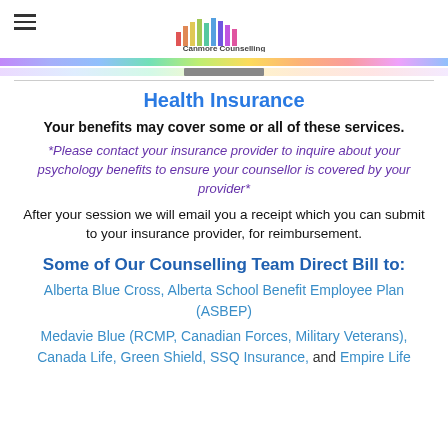Canmore Counselling logo with hamburger menu
Health Insurance
Your benefits may cover some or all of these services.
*Please contact your insurance provider to inquire about your psychology benefits to ensure your counsellor is covered by your provider*
After your session we will email you a receipt which you can submit to your insurance provider, for reimbursement.
Some of Our Counselling Team Direct Bill to:
Alberta Blue Cross, Alberta School Benefit Employee Plan (ASBEP)
Medavie Blue (RCMP, Canadian Forces, Military Veterans), Canada Life, Green Shield, SSQ Insurance, and Empire Life